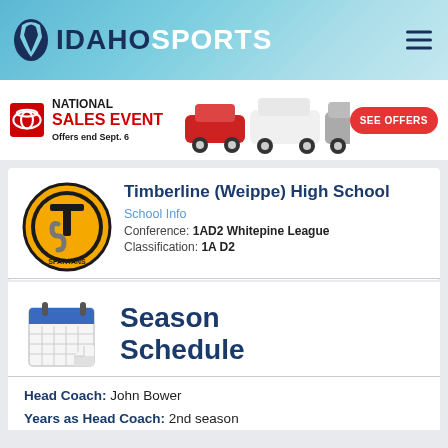IDAHO SPORTS
[Figure (photo): Toyota National Sales Event advertisement banner with cars and red See Offers button. Offers end Sept. 6]
[Figure (logo): Timberline Spartans school logo — gold circle with TS letters and SPARTANS text]
Timberline (Weippe) High School
School Info
Conference: 1AD2 Whitepine League
Classification: 1A D2
[Figure (illustration): Calendar icon representing Season Schedule]
Season Schedule
Head Coach: John Bower
Years as Head Coach: 2nd season